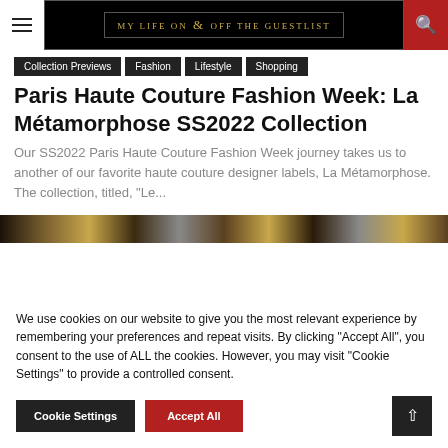my life on & off the guestlist
Collection Previews
Fashion
Lifestyle
Shopping
Paris Haute Couture Fashion Week: La Métamorphose SS2022 Collection
Our SS2022 Paris Haute Couture Fashion Week journey takes us to another of our favorite haute couture designer labels, La Métamorphose. The collection, titled, "Le...
[Figure (photo): Partial fashion show image strip showing models in haute couture garments]
We use cookies on our website to give you the most relevant experience by remembering your preferences and repeat visits. By clicking "Accept All", you consent to the use of ALL the cookies. However, you may visit "Cookie Settings" to provide a controlled consent.